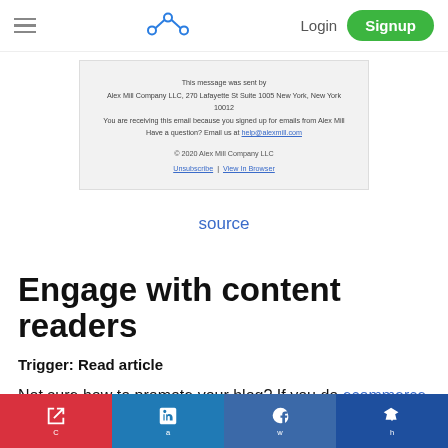Navigation bar with hamburger menu, logo, Login, Signup
[Figure (screenshot): Email footer preview in gray box: 'This message was sent by Alex Mill Company LLC, 270 Lafayette St Suite 1005 New York, New York 10012. You are receiving this email because you signed up for emails from Alex Mill. Have a question? Email us at help@alexmill.com. © 2020 Alex Mill Company LLC. Unsubscribe | View In Browser']
source
Engage with content readers
Trigger: Read article
Not sure how to promote your blog? If you do ecommerce content marketing, you should definitely
Social share bar: Pocket, LinkedIn, Facebook, Crown/Prod